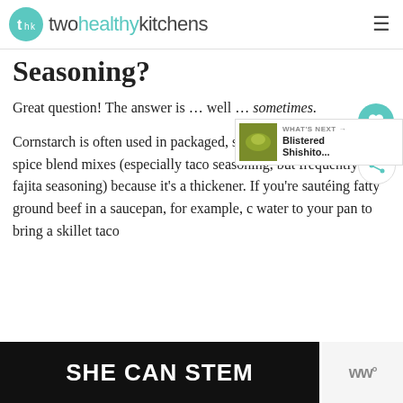twohealthykitchens
Seasoning?
Great question! The answer is … well … sometimes.
Cornstarch is often used in packaged, store-bought Mexican spice blend mixes (especially taco seasoning, but frequently also fajita seasoning) because it's a thickener. If you're sautéing fatty ground beef in a saucepan, for example, c water to your pan to bring a skillet taco recipe to rather than you definitely n d a